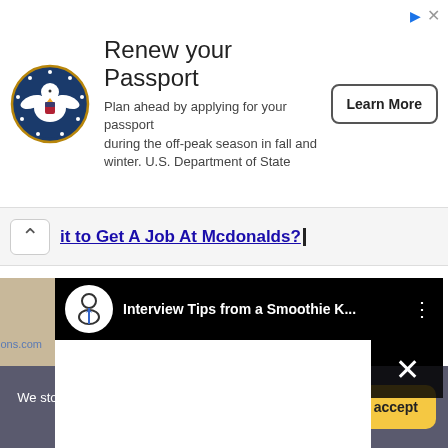[Figure (other): U.S. Department of State seal/logo — circular emblem with eagle]
Renew your Passport
Plan ahead by applying for your passport during the off-peak season in fall and winter. U.S. Department of State
Learn More
it to Get A Job At Mcdonalds?
[Figure (screenshot): Video embed: 'Interview Tips from a Smoothie K...' with person icon avatar, black background header, white content overlay with X close button]
We store cookies: if you do not agree, you can close the site More detailed
To accept